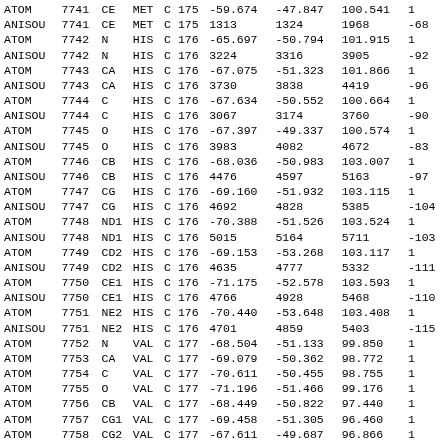| ATOM | 7741 | CE | MET | C | 175 | -59.674 | -47.847 | 100.541 | ... |
| ANISOU | 7741 | CE | MET | C | 175 | 1313 | 1324 | 1968 | -68 |
| ATOM | 7742 | N | HIS | C | 176 | -65.697 | -50.794 | 101.915 | ... |
| ANISOU | 7742 | N | HIS | C | 176 | 3224 | 3316 | 3905 | -92 |
| ATOM | 7743 | CA | HIS | C | 176 | -67.075 | -51.323 | 101.866 | ... |
| ANISOU | 7743 | CA | HIS | C | 176 | 3730 | 3838 | 4419 | -96 |
| ATOM | 7744 | C | HIS | C | 176 | -67.634 | -50.552 | 100.664 | ... |
| ANISOU | 7744 | C | HIS | C | 176 | 3067 | 3174 | 3760 | -90 |
| ATOM | 7745 | O | HIS | C | 176 | -67.397 | -49.337 | 100.574 | ... |
| ANISOU | 7745 | O | HIS | C | 176 | 3983 | 4082 | 4672 | -83 |
| ATOM | 7746 | CB | HIS | C | 176 | -68.036 | -50.983 | 103.007 | ... |
| ANISOU | 7746 | CB | HIS | C | 176 | 4476 | 4597 | 5163 | -97 |
| ATOM | 7747 | CG | HIS | C | 176 | -69.160 | -51.932 | 103.115 | ... |
| ANISOU | 7747 | CG | HIS | C | 176 | 4692 | 4828 | 5385 | -104 |
| ATOM | 7748 | ND1 | HIS | C | 176 | -70.388 | -51.526 | 103.524 | ... |
| ANISOU | 7748 | ND1 | HIS | C | 176 | 5015 | 5164 | 5711 | -103 |
| ATOM | 7749 | CD2 | HIS | C | 176 | -69.153 | -53.268 | 103.117 | ... |
| ANISOU | 7749 | CD2 | HIS | C | 176 | 4635 | 4777 | 5332 | -111 |
| ATOM | 7750 | CE1 | HIS | C | 176 | -71.175 | -52.578 | 103.593 | ... |
| ANISOU | 7750 | CE1 | HIS | C | 176 | 4766 | 4928 | 5468 | -110 |
| ATOM | 7751 | NE2 | HIS | C | 176 | -70.440 | -53.648 | 103.408 | ... |
| ANISOU | 7751 | NE2 | HIS | C | 176 | 4701 | 4859 | 5403 | -115 |
| ATOM | 7752 | N | VAL | C | 177 | -68.504 | -51.133 | 99.850 | ... |
| ATOM | 7753 | CA | VAL | C | 177 | -69.079 | -50.362 | 98.772 | ... |
| ATOM | 7754 | C | VAL | C | 177 | -70.611 | -50.455 | 98.755 | ... |
| ATOM | 7755 | O | VAL | C | 177 | -71.196 | -51.466 | 99.176 | ... |
| ATOM | 7756 | CB | VAL | C | 177 | -68.449 | -50.822 | 97.440 | ... |
| ATOM | 7757 | CG1 | VAL | C | 177 | -69.458 | -51.305 | 96.460 | ... |
| ATOM | 7758 | CG2 | VAL | C | 177 | -67.611 | -49.687 | 96.866 | ... |